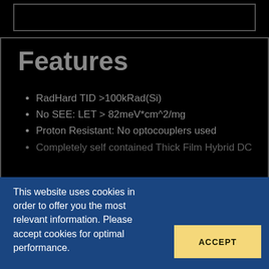[Figure (screenshot): Top black strip with a rectangular border outline at the top of the page]
Features
RadHard TID >100kRad(Si)
No SEE: LET > 82meV*cm^2/mg
Proton Resistant: No optocouplers used
Completely self contained Thick Film Hybrid DC
This website uses cookies in order to offer you the most relevant information. Please accept cookies for optimal performance.
ACCEPT